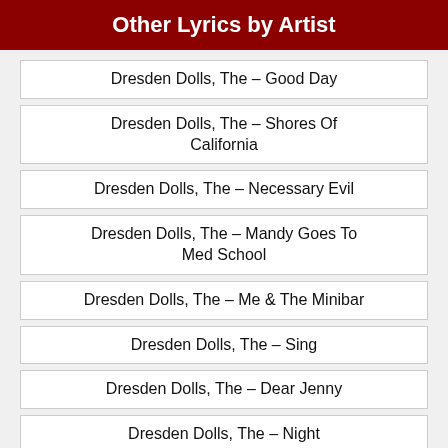Other Lyrics by Artist
Dresden Dolls, The – Good Day
Dresden Dolls, The – Shores Of California
Dresden Dolls, The – Necessary Evil
Dresden Dolls, The – Mandy Goes To Med School
Dresden Dolls, The – Me & The Minibar
Dresden Dolls, The – Sing
Dresden Dolls, The – Dear Jenny
Dresden Dolls, The – Night Reconnaissance